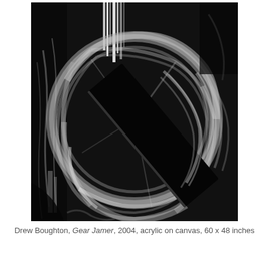[Figure (photo): Black and white photograph of an abstract acrylic painting. The painting features sweeping circular brushstrokes in white and grey against a dark black background, with a prominent diagonal black rectangular shape cutting across the center of a circular swirling form. The overall composition is dynamic and gestural.]
Drew Boughton, Gear Jamer, 2004, acrylic on canvas, 60 x 48 inches